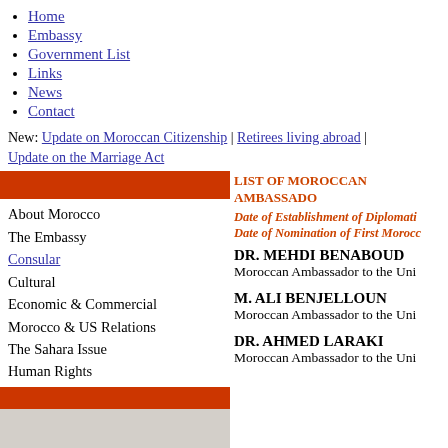Home
Embassy
Government List
Links
News
Contact
New: Update on Moroccan Citizenship | Retirees living abroad | Update on the Marriage Act
LIST OF MOROCCAN AMBASSADO
About Morocco
The Embassy
Consular
Cultural
Economic & Commercial
Morocco & US Relations
The Sahara Issue
Human Rights
Date of Establishment of Diplomati
Date of Nomination of First Morocc
DR. MEHDI BENABOUD
Moroccan Ambassador to the Uni
M. ALI BENJELLOUN
Moroccan Ambassador to the Uni
DR. AHMED LARAKI
Moroccan Ambassador to the Uni